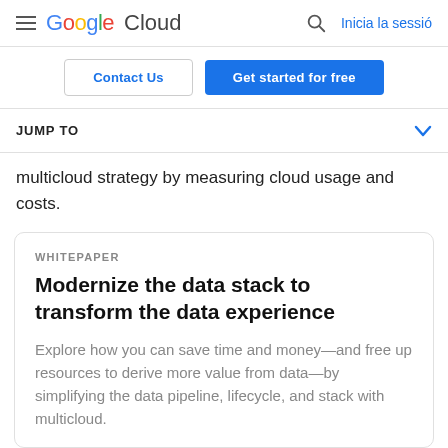Google Cloud — Inicia la sessió
Contact Us | Get started for free
JUMP TO
multicloud strategy by measuring cloud usage and costs.
WHITEPAPER
Modernize the data stack to transform the data experience
Explore how you can save time and money—and free up resources to derive more value from data—by simplifying the data pipeline, lifecycle, and stack with multicloud.